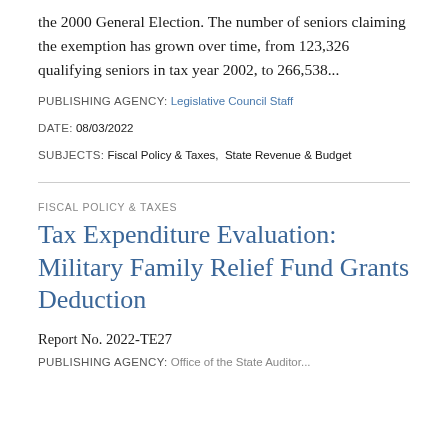the 2000 General Election. The number of seniors claiming the exemption has grown over time, from 123,326 qualifying seniors in tax year 2002, to 266,538...
PUBLISHING AGENCY: Legislative Council Staff
DATE: 08/03/2022
SUBJECTS: Fiscal Policy & Taxes,  State Revenue & Budget
FISCAL POLICY & TAXES
Tax Expenditure Evaluation: Military Family Relief Fund Grants Deduction
Report No. 2022-TE27
PUBLISHING AGENCY: Office of the State Auditor